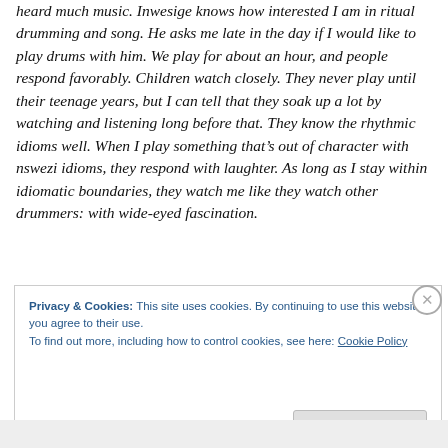heard much music. Inwesige knows how interested I am in ritual drumming and song. He asks me late in the day if I would like to play drums with him. We play for about an hour, and people respond favorably. Children watch closely. They never play until their teenage years, but I can tell that they soak up a lot by watching and listening long before that. They know the rhythmic idioms well. When I play something that’s out of character with nswezi idioms, they respond with laughter. As long as I stay within idiomatic boundaries, they watch me like they watch other drummers: with wide-eyed fascination.
Privacy & Cookies: This site uses cookies. By continuing to use this website, you agree to their use.
To find out more, including how to control cookies, see here: Cookie Policy